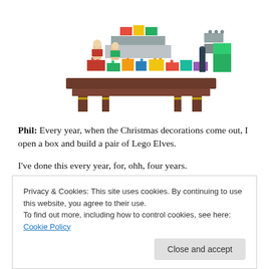[Figure (photo): Photo of a LEGO holiday/Christmas scene showing elves and colorful blocks on a brown table/platform, partially visible at top of page]
Phil: Every year, when the Christmas decorations come out, I open a box and build a pair of Lego Elves.
I've done this every year, for, ohh, four years.
Yes, it's a tradition. Just not a very old one. My annual trip to London for beer with some mates usually left me with
Privacy & Cookies: This site uses cookies. By continuing to use this website, you agree to their use.
To find out more, including how to control cookies, see here: Cookie Policy
Close and accept